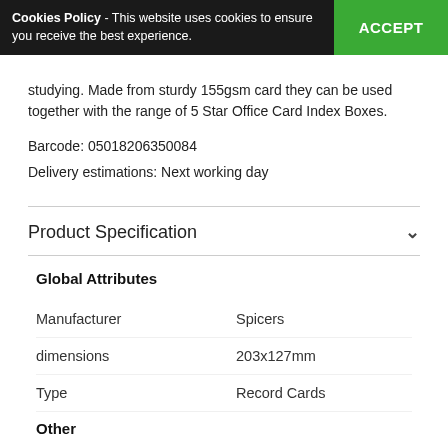Cookies Policy - This website uses cookies to ensure you receive the best experience. ACCEPT
studying. Made from sturdy 155gsm card they can be used together with the range of 5 Star Office Card Index Boxes.
Barcode: 05018206350084
Delivery estimations: Next working day
Product Specification
| Attribute | Value |
| --- | --- |
| Global Attributes |  |
| Manufacturer | Spicers |
| dimensions | 203x127mm |
| Type | Record Cards |
| Other |  |